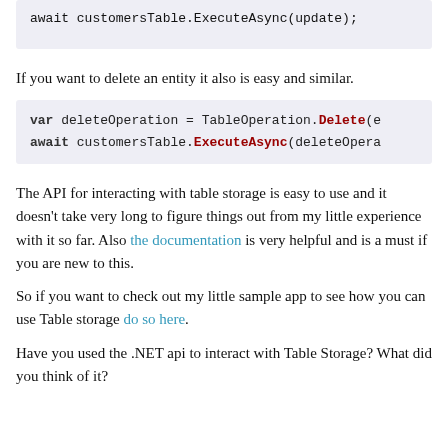await customersTable.ExecuteAsync(update);
If you want to delete an entity it also is easy and similar.
var deleteOperation = TableOperation.Delete(e
await customersTable.ExecuteAsync(deleteOpera
The API for interacting with table storage is easy to use and it doesn't take very long to figure things out from my little experience with it so far. Also the documentation is very helpful and is a must if you are new to this.
So if you want to check out my little sample app to see how you can use Table storage do so here.
Have you used the .NET api to interact with Table Storage? What did you think of it?